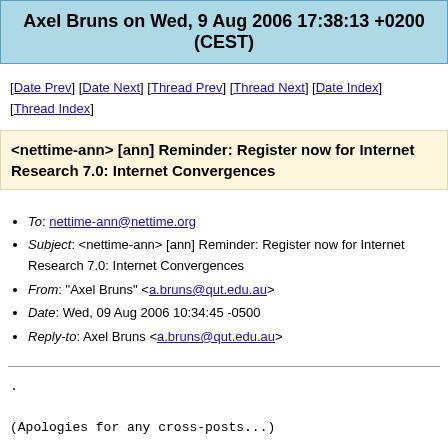Axel Bruns on Wed, 9 Aug 2006 17:38:13 +0200 (CEST)
[Date Prev] [Date Next] [Thread Prev] [Thread Next] [Date Index] [Thread Index]
<nettime-ann> [ann] Reminder: Register now for Internet Research 7.0: Internet Convergences
To: nettime-ann@nettime.org
Subject: <nettime-ann> [ann] Reminder: Register now for Internet Research 7.0: Internet Convergences
From: "Axel Bruns" <a.bruns@qut.edu.au>
Date: Wed, 09 Aug 2006 10:34:45 -0500
Reply-to: Axel Bruns <a.bruns@qut.edu.au>
.

(Apologies for any cross-posts...)

SAVE USD40 AND REGISTER FOR IR7.0 by 30 June!!

Registration includes: